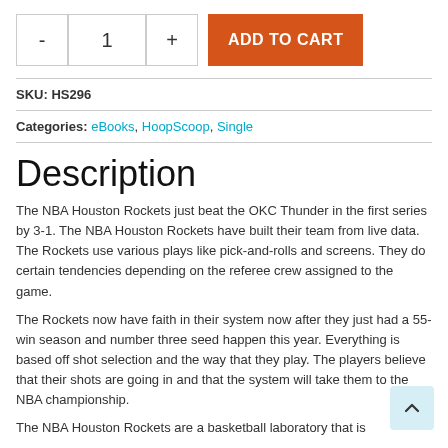- 1 + ADD TO CART
SKU: HS296
Categories: eBooks, HoopScoop, Single
Description
The NBA Houston Rockets just beat the OKC Thunder in the first series by 3-1. The NBA Houston Rockets have built their team from live data. The Rockets use various plays like pick-and-rolls and screens. They do certain tendencies depending on the referee crew assigned to the game.
The Rockets now have faith in their system now after they just had a 55-win season and number three seed happen this year. Everything is based off shot selection and the way that they play. The players believe that their shots are going in and that the system will take them to the NBA championship.
The NBA Houston Rockets are a basketball laboratory that is